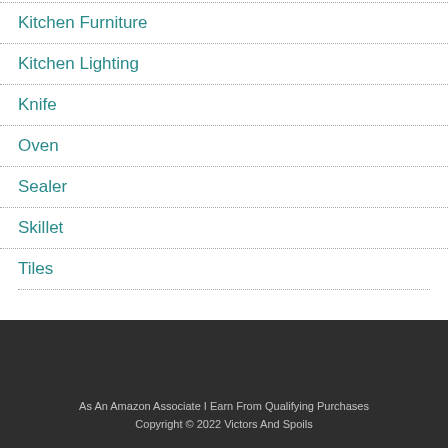Kitchen Furniture
Kitchen Lighting
Knife
Oven
Sealer
Skillet
Tiles
As An Amazon Associate I Earn From Qualifying Purchases
Copyright © 2022 Victors And Spoils